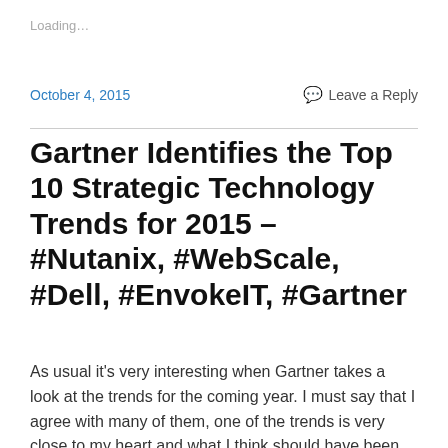Loading…
October 4, 2015
Leave a Reply
Gartner Identifies the Top 10 Strategic Technology Trends for 2015 – #Nutanix, #WebScale, #Dell, #EnvokeIT, #Gartner
As usual it's very interesting when Gartner takes a look at the trends for the coming year. I must say that I agree with many of them, one of the trends is very close to my heart and what I think should have been on the agenda of most